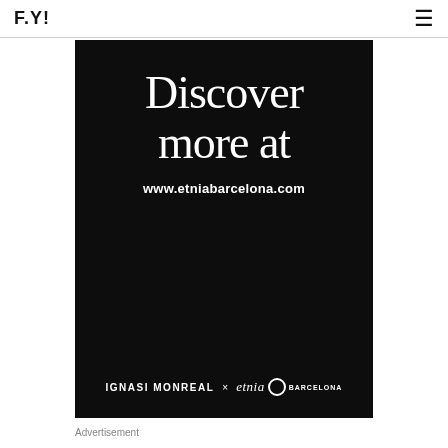F.Y!
[Figure (illustration): Black advertisement banner for Etnia Barcelona featuring large serif text 'Discover more at' and URL 'www.etniabarcelona.com', with branding 'IGNASI MONREAL × etnia BARCELONA' at bottom]
Advertisement